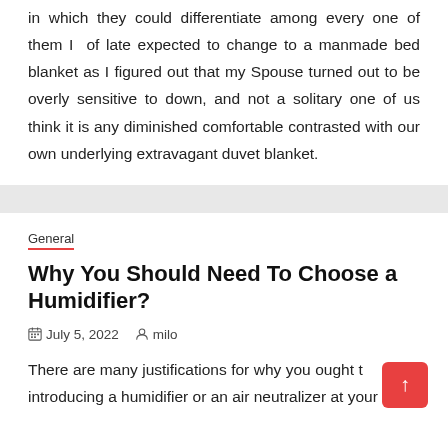in which they could differentiate among every one of them I of late expected to change to a manmade bed blanket as I figured out that my Spouse turned out to be overly sensitive to down, and not a solitary one of us think it is any diminished comfortable contrasted with our own underlying extravagant duvet blanket.
General
Why You Should Need To Choose a Humidifier?
July 5, 2022   milo
There are many justifications for why you ought to have on introducing a humidifier or an air neutralizer at your